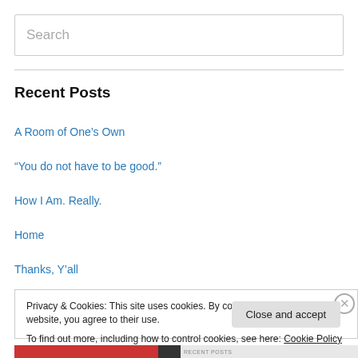Search
Recent Posts
A Room of One's Own
“You do not have to be good.”
How I Am. Really.
Home
Thanks, Y’all
Privacy & Cookies: This site uses cookies. By continuing to use this website, you agree to their use.
To find out more, including how to control cookies, see here: Cookie Policy
Close and accept